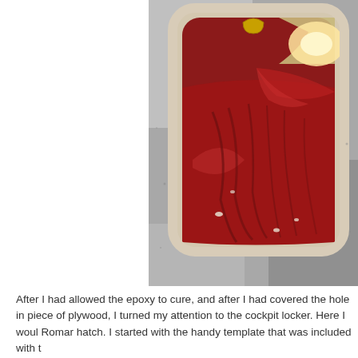[Figure (photo): An open cockpit locker or hatch viewed from above. The interior is lined with dark red/burgundy material that is creased and folded. The locker has a white/cream fiberglass lip around the rectangular opening with rounded corners. A yellow handle or fitting is visible at the top. The surrounding surface is a gray concrete or fiberglass deck.]
After I had allowed the epoxy to cure, and after I had covered the hole in piece of plywood, I turned my attention to the cockpit locker. Here I woul Romar hatch. I started with the handy template that was included with t